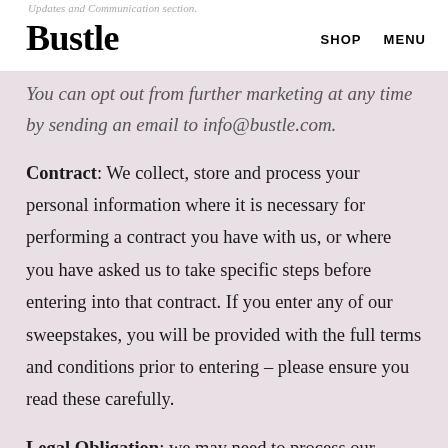Updates and Communication section. Bustle SHOP MENU
You can opt out from further marketing at any time by sending an email to info@bustle.com.
Contract: We collect, store and process your personal information where it is necessary for performing a contract you have with us, or where you have asked us to take specific steps before entering into that contract. If you enter any of our sweepstakes, you will be provided with the full terms and conditions prior to entering – please ensure you read these carefully.
Legal Obligation: we may need to process our